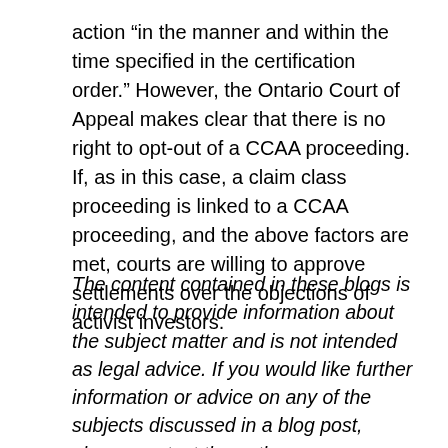action “in the manner and within the time specified in the certification order.” However, the Ontario Court of Appeal makes clear that there is no right to opt-out of a CCAA proceeding. If, as in this case, a claim class proceeding is linked to a CCAA proceeding, and the above factors are met, courts are willing to approve settlements over the objections of activist investors.
The content contained in these blogs is intended to provide information about the subject matter and is not intended as legal advice. If you would like further information or advice on any of the subjects discussed in a blog post, please contact the author.